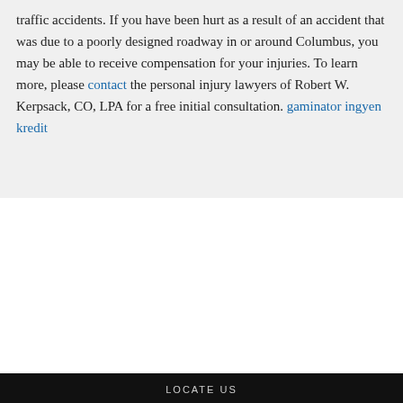traffic accidents. If you have been hurt as a result of an accident that was due to a poorly designed roadway in or around Columbus, you may be able to receive compensation for your injuries. To learn more, please contact the personal injury lawyers of Robert W. Kerpsack, CO, LPA for a free initial consultation. gaminator ingyen kredit
[Figure (logo): AV LexisNexis Martindale-Hubbell Peer Review Rated badge for ethical standards and legal ability]
LOCATE US